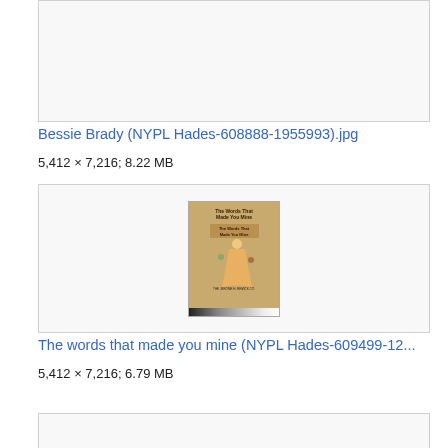[Figure (other): Top portion of a file thumbnail image box, mostly empty/white, partially visible at top of page]
Bessie Brady (NYPL Hades-608888-1955993).jpg
5,412 × 7,216; 8.22 MB
[Figure (illustration): Thumbnail of a sheet music cover titled 'The words that made you mine', showing a decorative illustration with a female figure in period dress]
The words that made you mine (NYPL Hades-609499-12...
5,412 × 7,216; 6.79 MB
[Figure (other): Bottom portion of a third file thumbnail, partially visible at bottom of page]